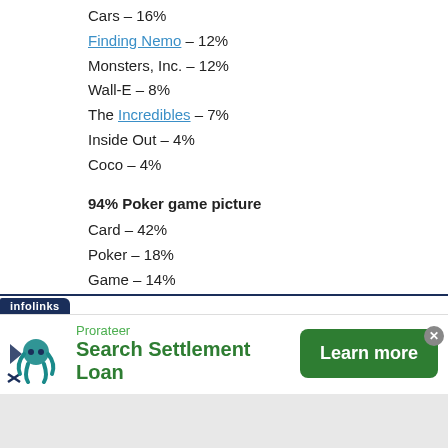Cars – 16%
Finding Nemo – 12%
Monsters, Inc. – 12%
Wall-E – 8%
The Incredibles – 7%
Inside Out – 4%
Coco – 4%
94% Poker game picture
Card – 42%
Poker – 18%
Game – 14%
Hand – 12%
Gamble – 8%
[Figure (infographic): Infolinks ad banner: Prorateer Search Settlement Loan with Learn more button]